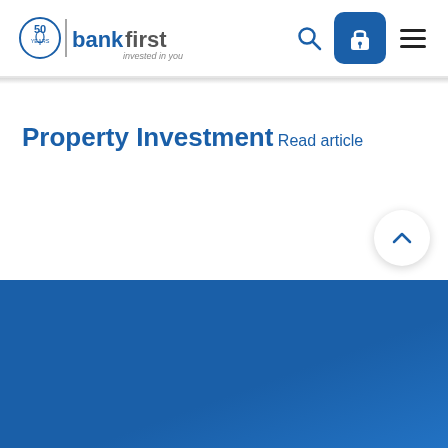bankfirst — invested in you
Property Investment
Read article
[Figure (other): Back-to-top chevron button (circle with upward caret arrow)]
[Figure (other): Blue footer background area]